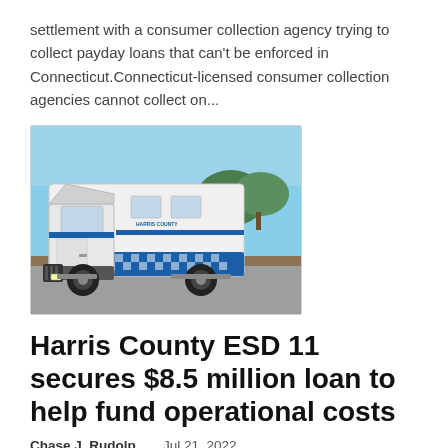settlement with a consumer collection agency trying to collect payday loans that can't be enforced in Connecticut.Connecticut-licensed consumer collection agencies cannot collect on...
[Figure (photo): White and blue emergency services ambulance/transport vehicle parked outdoors with trees in background]
Harris County ESD 11 secures $8.5 million loan to help fund operational costs
Chase J. Rudolp...   Jul 21, 2022
Harris County Emergency Services District No. 11 commissioner approved a loan totaling $8.5 million during a special session on